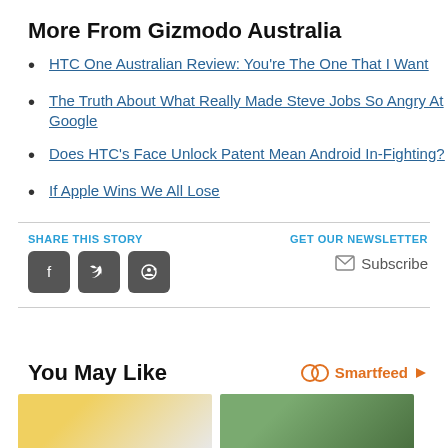More From Gizmodo Australia
HTC One Australian Review: You're The One That I Want
The Truth About What Really Made Steve Jobs So Angry At Google
Does HTC's Face Unlock Patent Mean Android In-Fighting?
If Apple Wins We All Lose
SHARE THIS STORY
[Figure (infographic): Social share icons: Facebook, Twitter, Reddit]
GET OUR NEWSLETTER Subscribe
You May Like
[Figure (logo): Smartfeed logo]
[Figure (photo): Two thumbnail images for recommended articles]